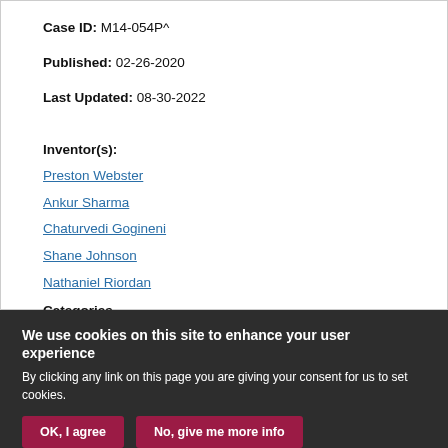Case ID: M14-054P^
Published: 02-26-2020
Last Updated: 08-30-2022
Inventor(s):
Preston Webster
Ankur Sharma
Chaturvedi Gogineni
Shane Johnson
Nathaniel Riordan
Categories
We use cookies on this site to enhance your user experience
By clicking any link on this page you are giving your consent for us to set cookies.